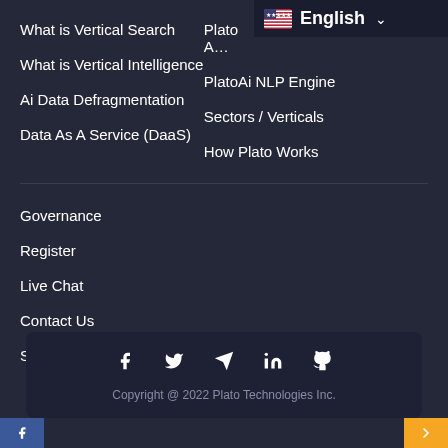What is Vertical Search
What is Vertical Intelligence
Ai Data Defragmentation
Data As A Service (DaaS)
Plato A…
PlatoAi NLP Engine
Sectors / Verticals
How Plato Works
Governance
Register
Live Chat
Contact Us
Social
[Figure (infographic): Social media icons: Facebook, Twitter, Telegram, LinkedIn, GitHub]
Copyright @ 2022 Plato Technologies Inc.